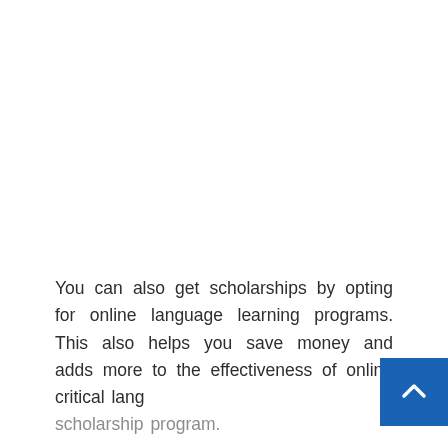You can also get scholarships by opting for online language learning programs. This also helps you save money and adds more to the effectiveness of online critical language scholarship program.